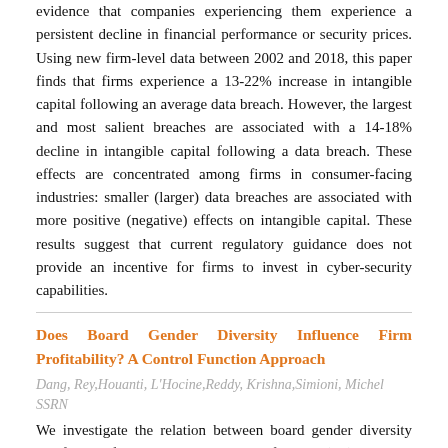evidence that companies experiencing them experience a persistent decline in financial performance or security prices. Using new firm-level data between 2002 and 2018, this paper finds that firms experience a 13-22% increase in intangible capital following an average data breach. However, the largest and most salient breaches are associated with a 14-18% decline in intangible capital following a data breach. These effects are concentrated among firms in consumer-facing industries: smaller (larger) data breaches are associated with more positive (negative) effects on intangible capital. These results suggest that current regulatory guidance does not provide an incentive for firms to invest in cyber-security capabilities.
Does Board Gender Diversity Influence Firm Profitability? A Control Function Approach
Dang, Rey,Houanti, L'Hocine,Reddy, Krishna,Simioni, Michel
SSRN
We investigate the relation between board gender diversity and firm profitability using the control function (CF) approach recently suggested by Wooldridge (2015). The CF method takes account of the problem of endogenous explanatory variables